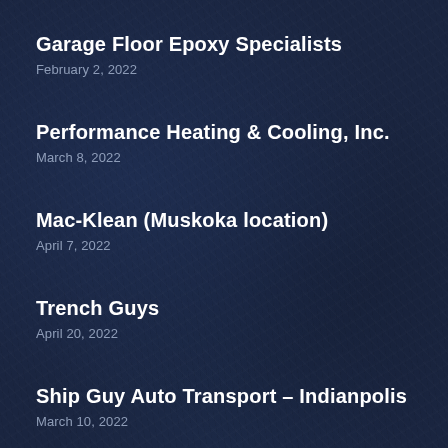Garage Floor Epoxy Specialists
February 2, 2022
Performance Heating & Cooling, Inc.
March 8, 2022
Mac-Klean (Muskoka location)
April 7, 2022
Trench Guys
April 20, 2022
Ship Guy Auto Transport – Indianpolis
March 10, 2022